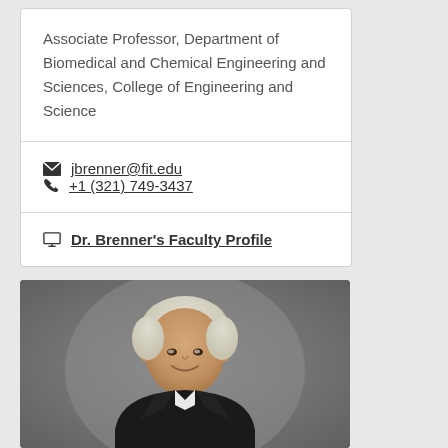Associate Professor, Department of Biomedical and Chemical Engineering and Sciences, College of Engineering and Science
jbrenner@fit.edu
+1 (321) 749-3437
Dr. Brenner's Faculty Profile
[Figure (photo): Professional headshot of a middle-aged man with gray-white hair, wearing a dark suit, smiling, against a gray background]